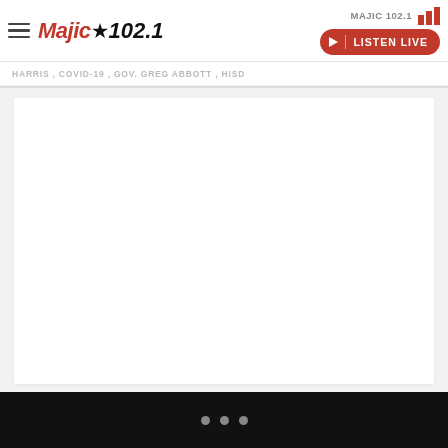MAJIC 102.1 — Majic 102.1 logo — HARRIS, COVID-19, GOV. GREG ABBOTT, HISD — LISTEN LIVE
HARRIS , COVID-19 , GOV. GREG ABBOTT , HISD
[Figure (screenshot): White content area (blank/loading) on a light gray background]
[Figure (other): Three dots navigation indicator on black background at the bottom of the page]